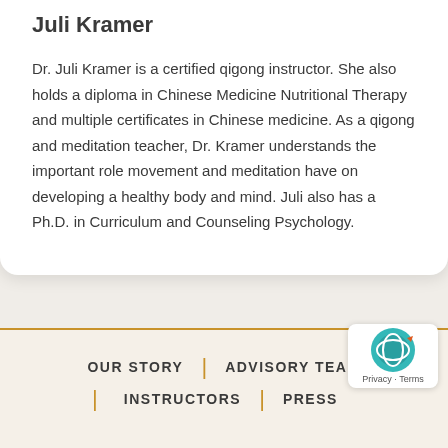Juli Kramer
Dr. Juli Kramer is a certified qigong instructor. She also holds a diploma in Chinese Medicine Nutritional Therapy and multiple certificates in Chinese medicine. As a qigong and meditation teacher, Dr. Kramer understands the important role movement and meditation have on developing a healthy body and mind. Juli also has a Ph.D. in Curriculum and Counseling Psychology.
OUR STORY | ADVISORY TEAM | INSTRUCTORS | PRESS